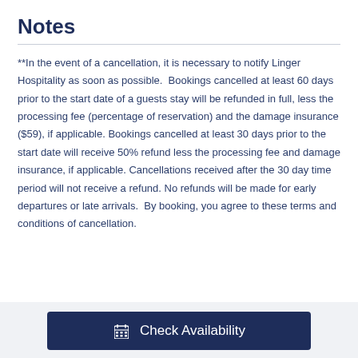Notes
**In the event of a cancellation, it is necessary to notify Linger Hospitality as soon as possible.  Bookings cancelled at least 60 days prior to the start date of a guests stay will be refunded in full, less the processing fee (percentage of reservation) and the damage insurance ($59), if applicable. Bookings cancelled at least 30 days prior to the start date will receive 50% refund less the processing fee and damage insurance, if applicable. Cancellations received after the 30 day time period will not receive a refund. No refunds will be made for early departures or late arrivals.  By booking, you agree to these terms and conditions of cancellation.
Check Availability